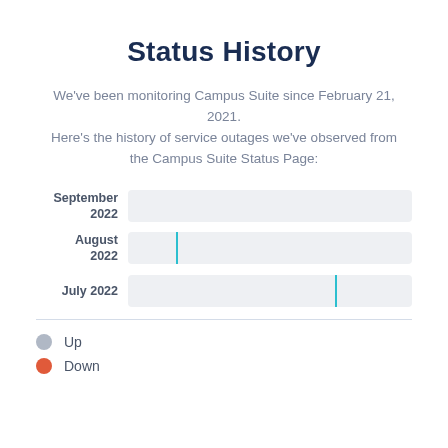Status History
We've been monitoring Campus Suite since February 21, 2021. Here's the history of service outages we've observed from the Campus Suite Status Page:
[Figure (infographic): Timeline chart showing status history for three months: September 2022, August 2022, and July 2022. Each row has a light gray horizontal bar representing the month. August 2022 has a teal vertical tick mark near the left portion of the bar, and July 2022 has a teal vertical tick mark near the right portion of the bar.]
Up
Down